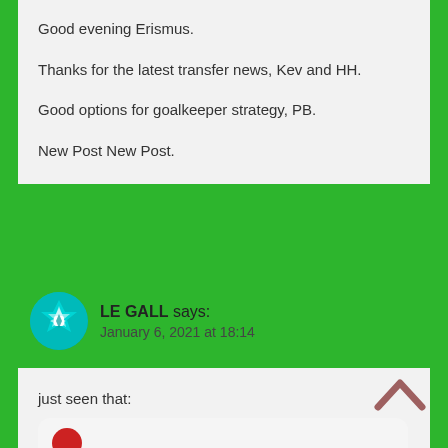Good evening Erismus.

Thanks for the latest transfer news, Kev and HH.

Good options for goalkeeper strategy, PB.

New Post New Post.
LE GALL says: January 6, 2021 at 18:14
just seen that:
[Figure (other): Partial view of a nested comment with a red circular avatar, cut off at the bottom of the page]